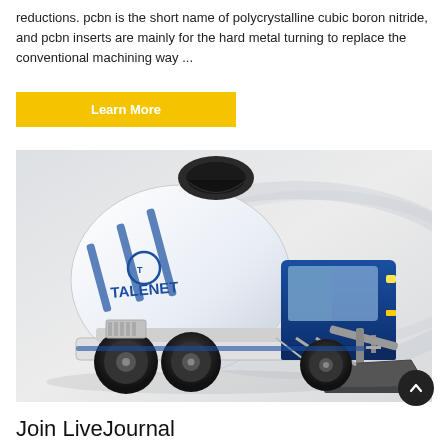reductions. pcbn is the short name of polycrystalline cubic boron nitride, and pcbn inserts are mainly for the hard metal turning to replace the conventional machining way ...
Learn More
[Figure (photo): A blue and white TALENET self-loading concrete mixer truck with a large rotating drum and front loader bucket, photographed on a light grey background.]
Join LiveJournal